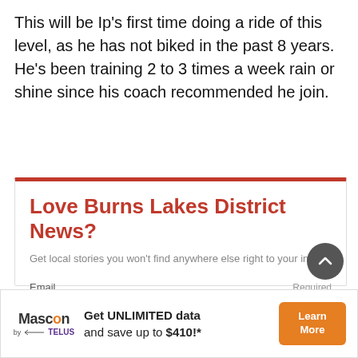This will be Ip's first time doing a ride of this level, as he has not biked in the past 8 years. He's been training 2 to 3 times a week rain or shine since his coach recommended he join.
[Figure (other): Newsletter signup widget with red header bar, title 'Love Burns Lakes District News?', subtitle 'Get local stories you won't find anywhere else right to your inbox.', email input field labeled 'Email' with 'Required' note, and a red subscribe button. A dark gray scroll-to-top chevron button appears at bottom right.]
[Figure (infographic): Advertisement banner for Mascon by TELUS: 'Get UNLIMITED data and save up to $410!*' with a Learn More button in orange.]